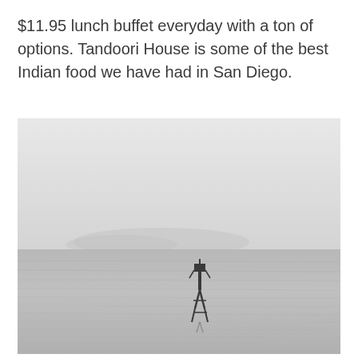$11.95 lunch buffet everyday with a ton of options. Tandoori House is some of the best Indian food we have had in San Diego.
[Figure (photo): Black and white photograph of a calm body of water with a small navigational buoy or marker structure in the center-right area. A faint silhouette of hills or mountains is visible in the misty background. The sky is overcast and hazy, merging with the water on the horizon.]